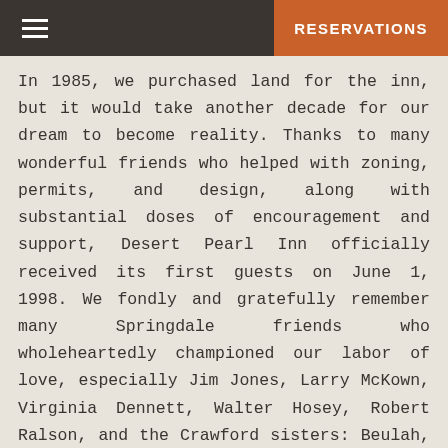RESERVATIONS
In 1985, we purchased land for the inn, but it would take another decade for our dream to become reality. Thanks to many wonderful friends who helped with zoning, permits, and design, along with substantial doses of encouragement and support, Desert Pearl Inn officially received its first guests on June 1, 1998. We fondly and gratefully remember many Springdale friends who wholeheartedly championed our labor of love, especially Jim Jones, Larry McKown, Virginia Dennett, Walter Hosey, Robert Ralson, and the Crawford sisters: Beulah, Elva, and Della. We are thankful as well to our Salt Lake City friends: Gary Max Collins, Chrisanne Olsen, Jutta Gellersen, and Laurie Downing for their excellent taste, talent, and commitment to our project.